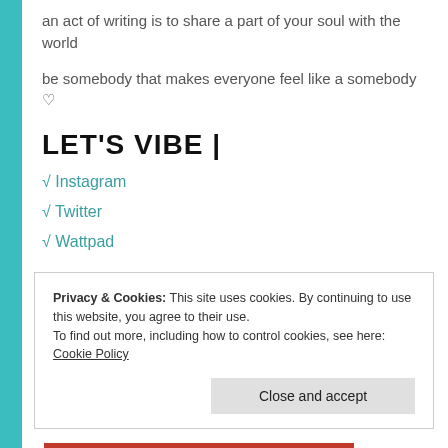an act of writing is to share a part of your soul with the world
be somebody that makes everyone feel like a somebody ♡
LET'S VIBE |
√ Instagram
√ Twitter
√ Wattpad
Privacy & Cookies: This site uses cookies. By continuing to use this website, you agree to their use. To find out more, including how to control cookies, see here: Cookie Policy
Close and accept